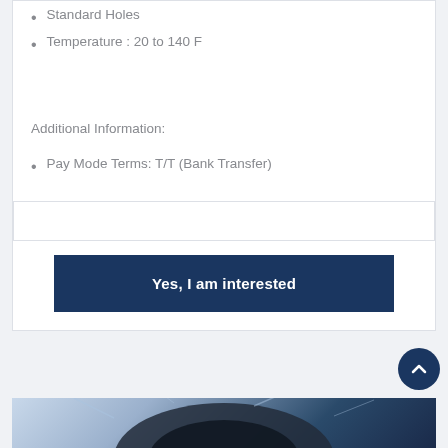Standard Holes
Temperature : 20 to 140 F
Additional Information:
Pay Mode Terms: T/T (Bank Transfer)
[Figure (photo): Product image of a bearing or mechanical component against a blue abstract background, partially visible at the bottom of the page]